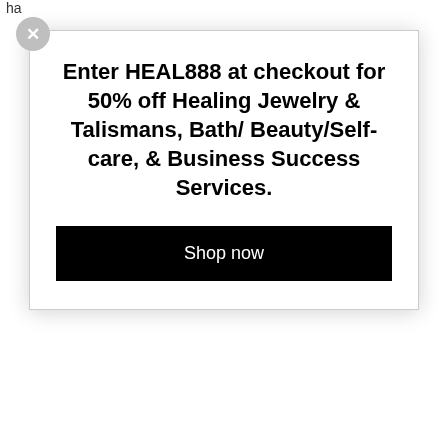ha
[Figure (infographic): Modal popup overlay with close button (X circle), promotional headline text, and a black Shop Now button]
Enter HEAL888 at checkout for 50% off Healing Jewelry & Talismans, Bath/ Beauty/Self-care, & Business Success Services.
Shop now
(It ... et, as ... eld do ... nt, int
Of ... nis ea ... ith pla ... ny co ... ro Ma ... ra wh